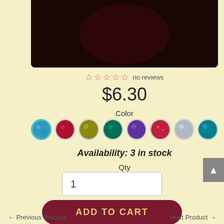[Figure (photo): Dark maroon product image at top of page]
☆ ☆ ☆ ☆ ☆ no reviews
$6.30
Color
[Figure (other): Eight color swatches: blue (selected), red/crimson, gold/olive, teal/green, purple, red glitter, silver/light blue, cyan/teal]
Availability: 3 in stock
Qty
1
ADD TO CART
← Previous Product    Next Product →